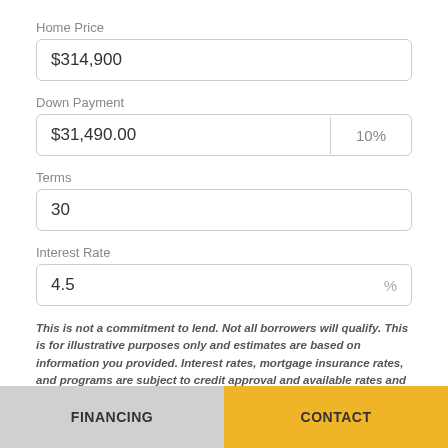Home Price
$314,900
Down Payment
$31,490.00
10%
Terms
30
Interest Rate
4.5
%
This is not a commitment to lend. Not all borrowers will qualify. This is for illustrative purposes only and estimates are based on information you provided. Interest rates, mortgage insurance rates, and programs are subject to credit approval and available rates and terms will vary, sometimes drastically, based on
FINANCING   CONTACT